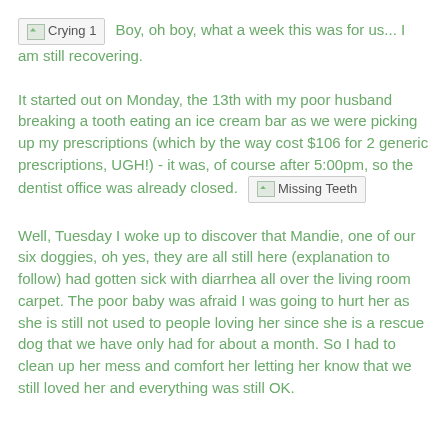[Crying 1] Boy, oh boy, what a week this was for us... I am still recovering.
It started out on Monday, the 13th with my poor husband breaking a tooth eating an ice cream bar as we were picking up my prescriptions (which by the way cost $106 for 2 generic prescriptions, UGH!) - it was, of course after 5:00pm, so the dentist office was already closed. [Missing Teeth]
Well, Tuesday I woke up to discover that Mandie, one of our six doggies, oh yes, they are all still here (explanation to follow) had gotten sick with diarrhea all over the living room carpet. The poor baby was afraid I was going to hurt her as she is still not used to people loving her since she is a rescue dog that we have only had for about a month. So I had to clean up her mess and comfort her letting her know that we still loved her and everything was still OK.